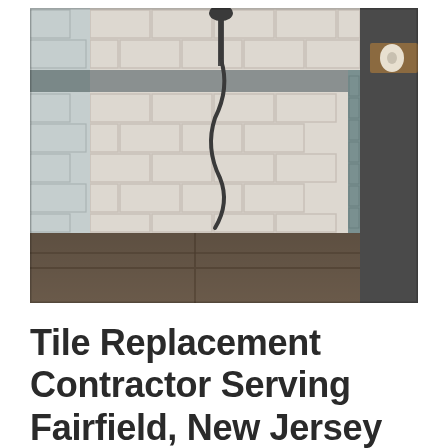[Figure (photo): Interior photo of a tiled walk-in shower. The walls are covered in white/cream rectangular subway tiles with a horizontal band of grey/blue tiles running across the middle. The floor has large dark brown/grey stone-look tiles. A dark metal shower head and hose are mounted on the back wall. A glass panel is visible on the right side. A wooden shelf with a roll of toilet paper is visible in the upper right corner.]
Tile Replacement Contractor Serving Fairfield, New Jersey